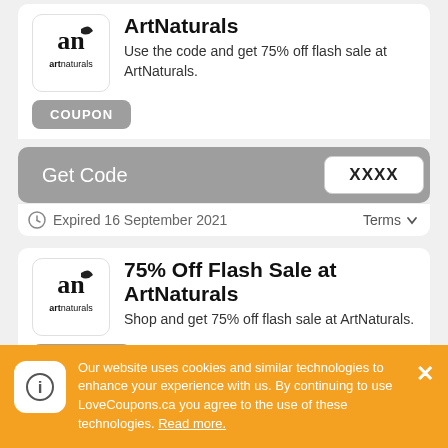[Figure (logo): ArtNaturals logo - 'an' letters with leaf, text 'artnaturals' below]
ArtNaturals
Use the code and get 75% off flash sale at ArtNaturals.
COUPON
Get Code
XXXX
Expired 16 September 2021
Terms
[Figure (logo): ArtNaturals logo - 'an' letters with leaf, text 'artnaturals' below]
75% Off Flash Sale at ArtNaturals
Shop and get 75% off flash sale at ArtNaturals.
COUPON
Our website uses cookies and similar technologies to enhance your experience with us. By continuing to use LoveCoupons.ca you agree to the use of these technologies. Read more.